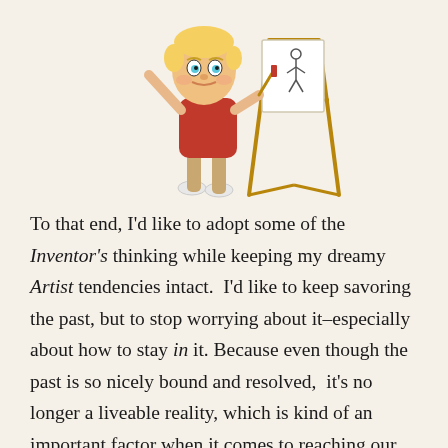[Figure (illustration): Cartoon illustration of a young blonde artist with blue eyes, wearing a red shirt and brown pants, painting a stick figure on a canvas on an easel.]
To that end, I'd like to adopt some of the Inventor's thinking while keeping my dreamy Artist tendencies intact.  I'd like to keep savoring the past, but to stop worrying about it–especially about how to stay in it. Because even though the past is so nicely bound and resolved,  it's no longer a liveable reality, which is kind of an important factor when it comes to reaching our potential in life.  And that